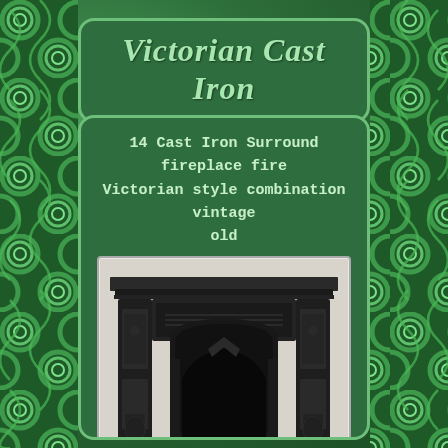Victorian Cast Iron
14 Cast Iron Surround fireplace fire Victorian style combination vintage old
[Figure (photo): Black and white photograph of a Victorian cast iron fireplace surround with ornate decorative details, columns, arched opening, and decorative grate]